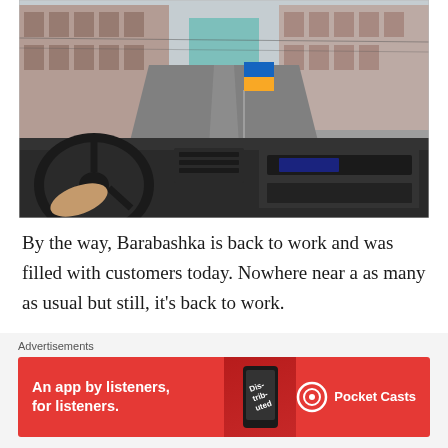[Figure (photo): View from inside a car driving down an empty urban street. A hand grips the steering wheel on the left. A small Ukrainian flag (blue and yellow) is attached to the dashboard. Multi-story European-style buildings line both sides of the street.]
By the way, Barabashka is back to work and was filled with customers today. Nowhere near a as many as usual but still, it’s back to work.
Advertisements
[Figure (photo): Advertisement banner: red background with text 'An app by listeners, for listeners.' and Pocket Casts logo with a phone graphic showing 'Distributed' text.]